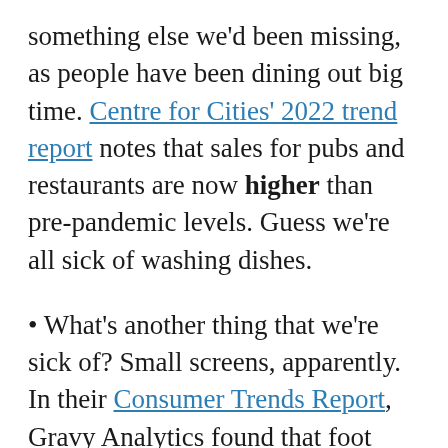something else we'd been missing, as people have been dining out big time. Centre for Cities' 2022 trend report notes that sales for pubs and restaurants are now higher than pre-pandemic levels. Guess we're all sick of washing dishes.
• What's another thing that we're sick of? Small screens, apparently. In their Consumer Trends Report, Gravy Analytics found that foot traffic for cinemas has been enjoying a steady growth – non-chain theatres ended last year with 35% higher foot traffic, whereas national chains like Regal Cinemas and AMC Theatres reported 73% and 49% respectively. Even after